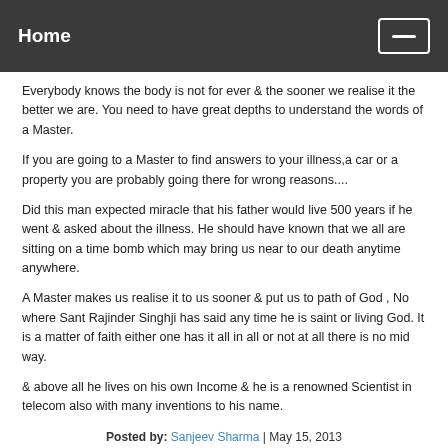Home
Everybody knows the body is not for ever & the sooner we realise it the better we are. You need to have great depths to understand the words of a Master.
If you are going to a Master to find answers to your illness,a car or a property you are probably going there for wrong reasons....
Did this man expected miracle that his father would live 500 years if he went & asked about the illness. He should have known that we all are sitting on a time bomb which may bring us near to our death anytime anywhere.
A Master makes us realise it to us sooner & put us to path of God , No where Sant Rajinder Singhji has said any time he is saint or living God. It is a matter of faith either one has it all in all or not at all there is no mid way.
& above all he lives on his own Income & he is a renowned Scientist in telecom also with many inventions to his name.
Posted by: Sanjeev Sharma | May 15, 2013